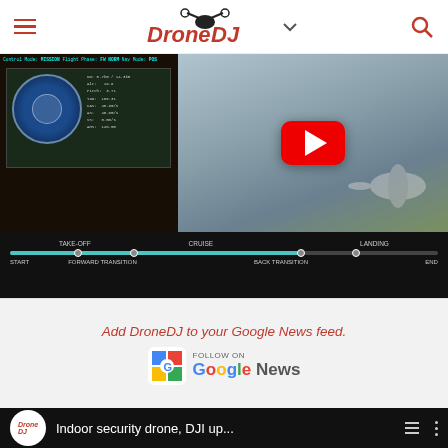DroneDJ navigation bar
[Figure (screenshot): Embedded video player showing a split view: left side shows a drone flight HUD/cockpit display with instruments and map, right side shows an aerial drone/aircraft in flight. Below the video is a black timeline bar with labels: START, TAKE-OFF, FORWARD TRANSITION, CRUISE, BACK TRANSITION, LANDING, END.]
Add DroneDJ to your Google News feed.
[Figure (logo): Google News follow badge with colorful GN icon and text FOLLOW ON Google News]
Subscribe to DroneDJ on YouTube for exclusive videos
[Figure (screenshot): YouTube video preview row showing DroneDJ logo circle, text 'Indoor security drone, DJI up...' with menu lines and dots icons on black background]